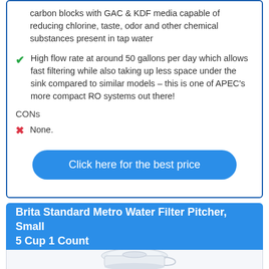carbon blocks with GAC & KDF media capable of reducing chlorine, taste, odor and other chemical substances present in tap water
High flow rate at around 50 gallons per day which allows fast filtering while also taking up less space under the sink compared to similar models – this is one of APEC's more compact RO systems out there!
CONs
None.
Click here for the best price
Brita Standard Metro Water Filter Pitcher, Small 5 Cup 1 Count
[Figure (photo): Photo of a white Brita Standard Metro Water Filter Pitcher, small 5 cup, partially visible at the bottom of the page.]